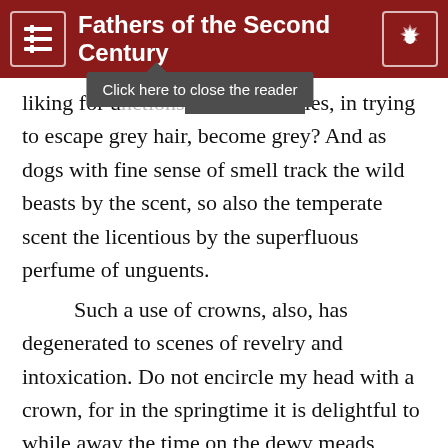Fathers of the Second Century
[Figure (screenshot): Tooltip overlay reading 'Click here to close the reader' with dark grey background, appearing below the header bar navigation.]
liking for u[nction?], in trying to escape grey hair, become grey? And as dogs with fine sense of smell track the wild beasts by the scent, so also the temperate scent the licentious by the superfluous perfume of unguents.
Such a use of crowns, also, has degenerated to scenes of revelry and intoxication. Do not encircle my head with a crown, for in the springtime it is delightful to while away the time on the dewy meads, while soft and many-coloured flowers are in bloom, and, like the bees, enjoy a natural and pure fragrance.1465 But to adorn one's self with “a crown woven from the fresh mead,” and wear it at home